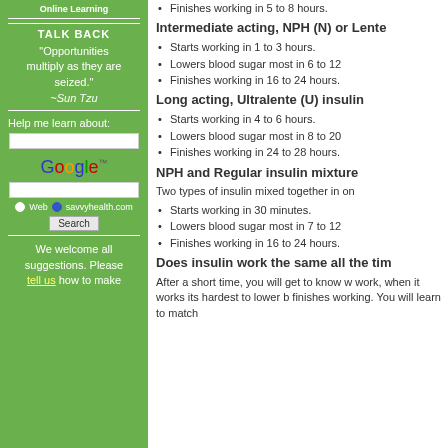Online Learning
TALK BACK
"Opportunities multiply as they are seized." ~Sun Tzu
Help me learn about:
[Figure (logo): Google logo with trademark symbol]
Web   savvyhealth.com   Search
We welcome all suggestions. Please tell us how to make
Intermediate acting, NPH (N) or Lente
Starts working in 1 to 3 hours.
Lowers blood sugar most in 6 to 12
Finishes working in 16 to 24 hours.
Long acting, Ultralente (U) insulin
Starts working in 4 to 6 hours.
Lowers blood sugar most in 8 to 20
Finishes working in 24 to 28 hours.
NPH and Regular insulin mixture
Two types of insulin mixed together in on
Starts working in 30 minutes.
Lowers blood sugar most in 7 to 12
Finishes working in 16 to 24 hours.
Does insulin work the same all the tim
After a short time, you will get to know w work, when it works its hardest to lower b finishes working. You will learn to match